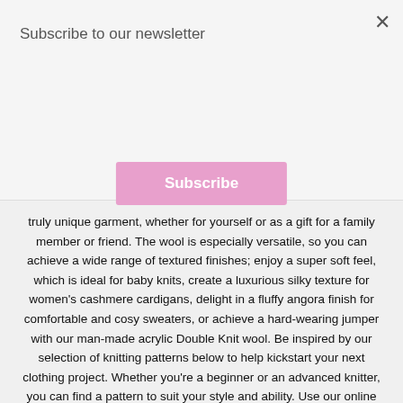Subscribe to our newsletter
Subscribe
truly unique garment, whether for yourself or as a gift for a family member or friend. The wool is especially versatile, so you can achieve a wide range of textured finishes; enjoy a super soft feel, which is ideal for baby knits, create a luxurious silky texture for women's cashmere cardigans, delight in a fluffy angora finish for comfortable and cosy sweaters, or achieve a hard-wearing jumper with our man-made acrylic Double Knit wool. Be inspired by our selection of knitting patterns below to help kickstart your next clothing project. Whether you're a beginner or an advanced knitter, you can find a pattern to suit your style and ability. Use our online tool to find your local King Cole stockist or get in touch with a member of our team if you require any additional information about our extensive range of wools and knitting patterns.